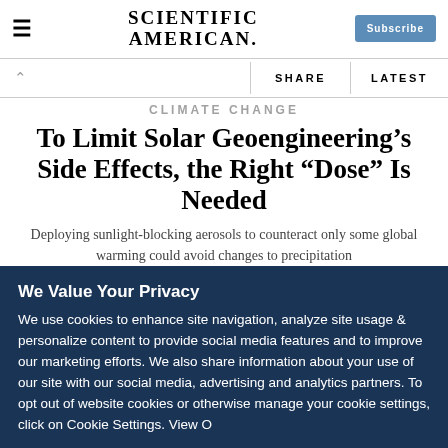SCIENTIFIC AMERICAN
To Limit Solar Geoengineering’s Side Effects, the Right “Dose” Is Needed
Deploying sunlight-blocking aerosols to counteract only some global warming could avoid changes to precipitation
By Chelsea Harvey, E&E News on March 12, 2019
We Value Your Privacy
We use cookies to enhance site navigation, analyze site usage & personalize content to provide social media features and to improve our marketing efforts. We also share information about your use of our site with our social media, advertising and analytics partners. To opt out of website cookies or otherwise manage your cookie settings, click on Cookie Settings. View O